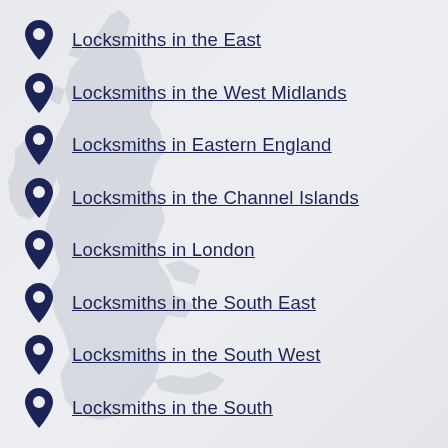[Figure (map): Silhouette map of Great Britain and Ireland shown as background watermark in light grey]
Locksmiths in the East
Locksmiths in the West Midlands
Locksmiths in Eastern England
Locksmiths in the Channel Islands
Locksmiths in London
Locksmiths in the South East
Locksmiths in the South West
Locksmiths in the South